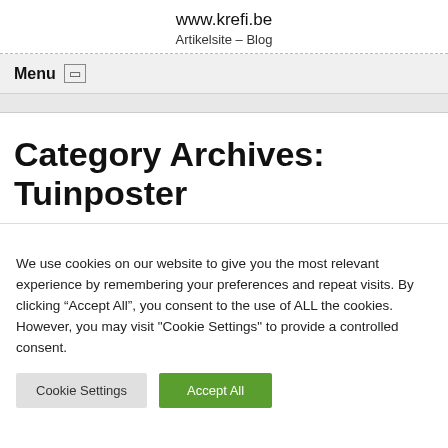www.krefi.be
Artikelsite – Blog
Menu ▯
Category Archives: Tuinposter
We use cookies on our website to give you the most relevant experience by remembering your preferences and repeat visits. By clicking "Accept All", you consent to the use of ALL the cookies. However, you may visit "Cookie Settings" to provide a controlled consent.
Cookie Settings | Accept All